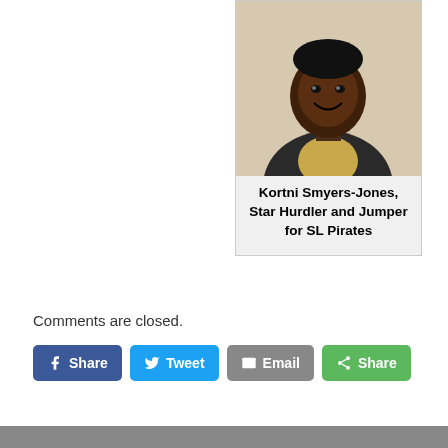[Figure (photo): Portrait photo of Kortni Smyers-Jones, a young woman smiling, wearing a yellow plaid shirt and dark jacket with a backpack strap visible.]
Kortni Smyers-Jones, Star Hurdler and Jumper for SL Pirates
Comments are closed.